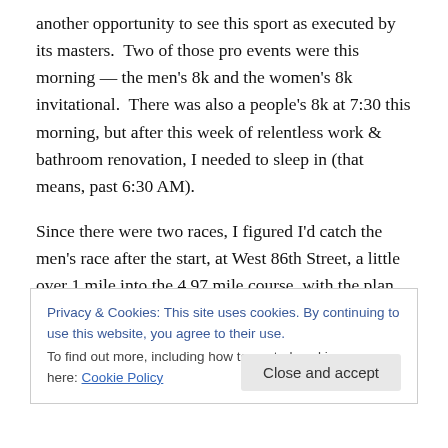another opportunity to see this sport as executed by its masters.  Two of those pro events were this morning — the men's 8k and the women's 8k invitational.  There was also a people's 8k at 7:30 this morning, but after this week of relentless work & bathroom renovation, I needed to sleep in (that means, past 6:30 AM).
Since there were two races, I figured I'd catch the men's race after the start, at West 86th Street, a little over 1 mile into the 4.97 mile course, with the plan then being to cross back over to the east side to see them just past the 4-mile
Privacy & Cookies: This site uses cookies. By continuing to use this website, you agree to their use.
To find out more, including how to control cookies, see here: Cookie Policy